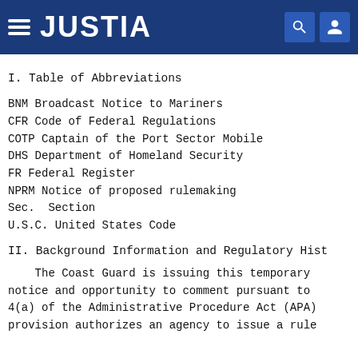JUSTIA
I. Table of Abbreviations
BNM Broadcast Notice to Mariners
CFR Code of Federal Regulations
COTP Captain of the Port Sector Mobile
DHS Department of Homeland Security
FR Federal Register
NPRM Notice of proposed rulemaking
Sec.  Section
U.S.C. United States Code
II. Background Information and Regulatory Hist
The Coast Guard is issuing this temporary notice and opportunity to comment pursuant to 4(a) of the Administrative Procedure Act (APA) provision authorizes an agency to issue a rule